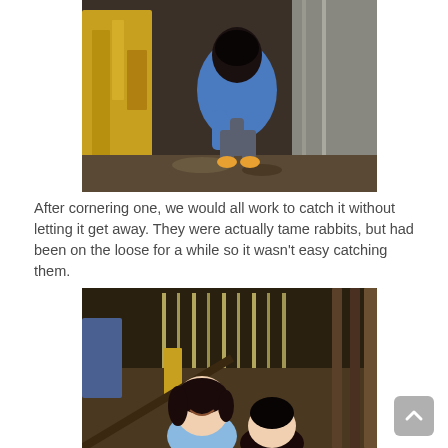[Figure (photo): Person in blue crouching in a narrow space between yellow machinery and a concrete wall, appears to be searching for or catching something on the ground.]
After cornering one, we would all work to catch it without letting it get away.  They were actually tame rabbits, but had been on the loose for a while so it wasn't easy catching them.
[Figure (photo): Two children inside a barn or wooden structure, light streaming through wooden slats. A girl in a blue shirt is smiling in the foreground.]